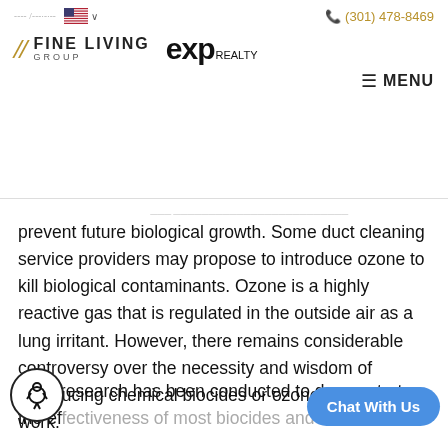Fine Living Group | eXp Realty | (301) 478-8469
prevent future biological growth. Some duct cleaning service providers may propose to introduce ozone to kill biological contaminants. Ozone is a highly reactive gas that is regulated in the outside air as a lung irritant. However, there remains considerable controversy over the necessity and wisdom of introducing chemical biocides or ozone into the duct work.
Little research has been conducted to demonstrate the effectiveness of most biocides and ozone in ducts. Simply spraying or otherwise introducing the...